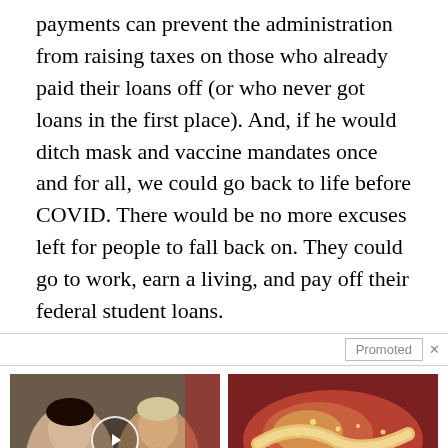payments can prevent the administration from raising taxes on those who already paid their loans off (or who never got loans in the first place). And, if he would ditch mask and vaccine mandates once and for all, we could go back to life before COVID. There would be no more excuses left for people to fall back on. They could go to work, earn a living, and pay off their federal student loans.
[Figure (other): Promoted content ad: thumbnail of two people with a video play button, titled 'Top Democrats Fear This Video Getting Out — Watch Now Before It's Banned', 315,477 views]
[Figure (other): Promoted content ad: thumbnail of anatomical/medical image, titled 'Why Doctors In The Know No Longer Prescribe Metformin', 124,811 views]
Top Democrats Fear This Video Getting Out — Watch Now Before It's Banned
Why Doctors In The Know No Longer Prescribe Metformin